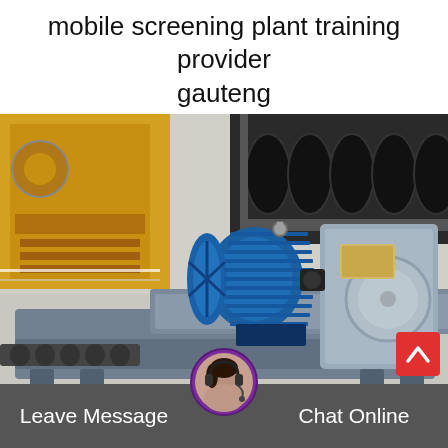mobile screening plant training provider gauteng
[Figure (photo): Industrial mobile screening plant equipment showing a large blue electric motor mounted on a steel frame/base, with conveyor belt components and yellow heavy machinery visible in the background inside an industrial facility.]
r 1
Leave Message   Chat Online